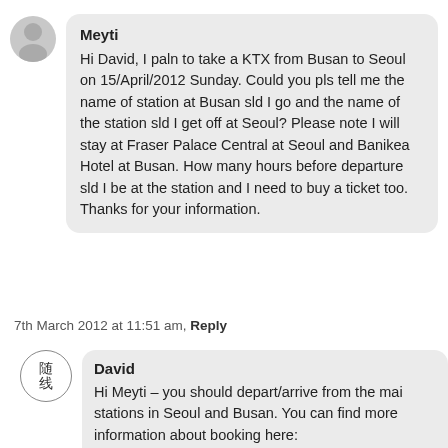Meyti
Hi David, I paln to take a KTX from Busan to Seoul on 15/April/2012 Sunday. Could you pls tell me the name of station at Busan sld I go and the name of the station sld I get off at Seoul? Please note I will stay at Fraser Palace Central at Seoul and Banikea Hotel at Busan. How many hours before departure sld I be at the station and I need to buy a ticket too. Thanks for your information.
7th March 2012 at 11:51 am, Reply
David
Hi Meyti – you should depart/arrive from the main stations in Seoul and Busan. You can find more information about booking here:
http://info.korail.com/2007/eng/eng_index.jsp
http://english.visitkorea.or.kr/enu/TR/TR_EN_5_1